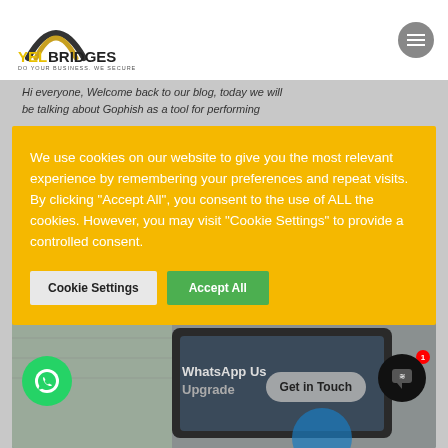[Figure (logo): YelBridges logo with arch graphic and tagline DO YOUR BUSINESS. WE SECURE]
Hi everyone, Welcome back to our blog, today we will be talking about Gophish as a tool for performing
We use cookies on our website to give you the most relevant experience by remembering your preferences and repeat visits. By clicking "Accept All", you consent to the use of ALL the cookies. However, you may visit "Cookie Settings" to provide a controlled consent.
Cookie Settings   Accept All
[Figure (screenshot): Bottom section showing WhatsApp icon, Get in Touch button, and chat widget button with badge showing 1 notification. Background shows a dark tablet and brick wall imagery with text WhatsApp Us / Upgrade visible.]